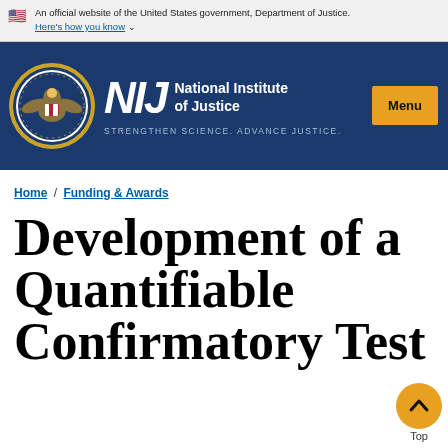An official website of the United States government, Department of Justice. Here's how you know
[Figure (logo): NIJ (National Institute of Justice) header banner with DOJ seal, NIJ logo, tagline STRENGTHEN SCIENCE. ADVANCE JUSTICE., and Menu button on dark blue background]
Home / Funding & Awards
Development of a Quantifiable Confirmatory Test